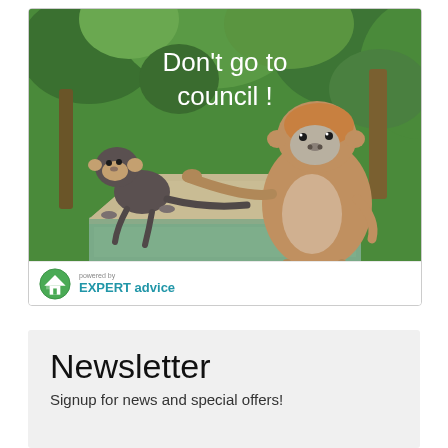[Figure (photo): Photo of two monkeys on a stone pillar — a small young monkey on the left and a larger adult monkey on the right pulling the young one's tail. Green foliage in background. White text overlay reads 'Don't go to council !' A footer shows a house icon with 'powered by' text and 'EXPERT advice' in teal.]
Newsletter
Signup for news and special offers!